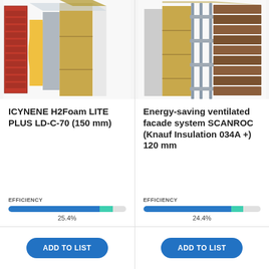[Figure (illustration): 3D cutaway illustration of ICYNENE H2Foam LITE PLUS LD-C-70 insulation system showing red brick facade, yellow foam insulation layer, and mineral wool panels in layered cross-section]
ICYNENE H2Foam LITE PLUS LD-C-70 (150 mm)
EFFICIENCY
[Figure (bar-chart): Efficiency 25.4%]
[Figure (illustration): 3D cutaway illustration of Energy-saving ventilated facade system SCANROC with Knauf Insulation showing wood cladding panels, metal bracket substructure, and insulation layers]
Energy-saving ventilated facade system SCANROC (Knauf Insulation 034A +) 120 mm
EFFICIENCY
[Figure (bar-chart): Efficiency 24.4%]